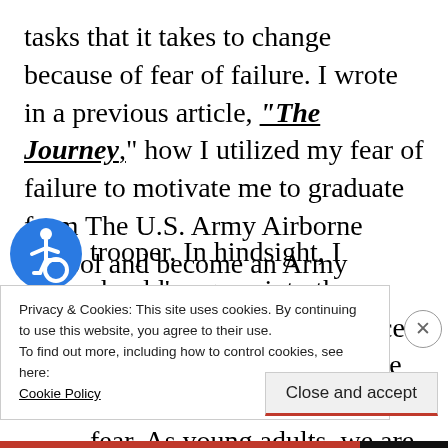tasks that it takes to change because of fear of failure. I wrote in a previous article, “The Journey,” how I utilized my fear of failure to motivate me to graduate from The U.S. Army Airborne School and become an Army trooper. In hindsight, I should’ve gone into the training with the confidence that I was going to graduate as my motivator instead of fear. As young adults, we are constantly
[Figure (illustration): Wheelchair accessibility icon — white figure on blue circle]
Privacy & Cookies: This site uses cookies. By continuing to use this website, you agree to their use.
To find out more, including how to control cookies, see here:
Cookie Policy